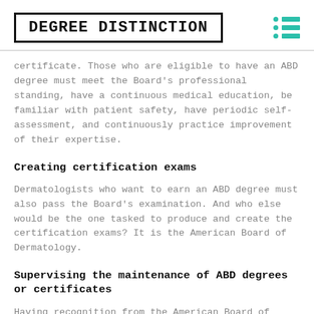DEGREE DISTINCTION
certificate. Those who are eligible to have an ABD degree must meet the Board's professional standing, have a continuous medical education, be familiar with patient safety, have periodic self-assessment, and continuously practice improvement of their expertise.
Creating certification exams
Dermatologists who want to earn an ABD degree must also pass the Board's examination. And who else would be the one tasked to produce and create the certification exams? It is the American Board of Dermatology.
Supervising the maintenance of ABD degrees or certificates
Having recognition from the American Board of